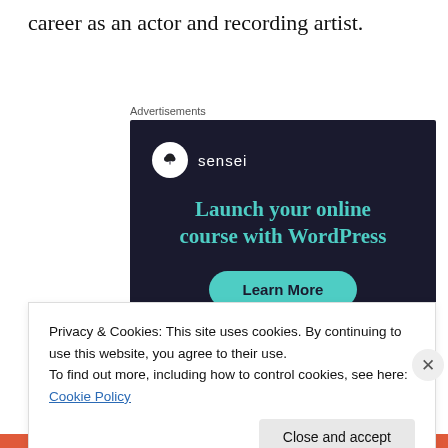career as an actor and recording artist.
Advertisements
[Figure (infographic): Sensei advertisement with dark background. Shows Sensei logo (tree icon in white circle) with text 'sensei'. Large teal headline: 'Launch your online course with WordPress'. Teal rounded button labeled 'Learn More'.]
Privacy & Cookies: This site uses cookies. By continuing to use this website, you agree to their use.
To find out more, including how to control cookies, see here: Cookie Policy
Close and accept